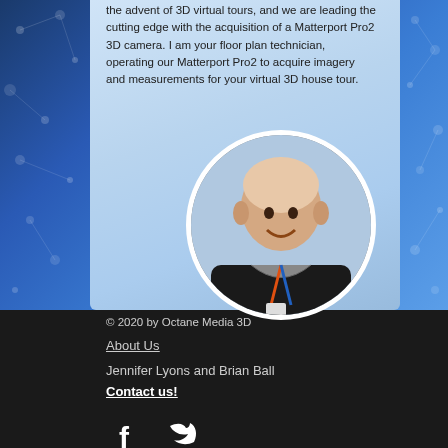the advent of 3D virtual tours, and we are leading the cutting edge with the acquisition of a Matterport Pro2 3D camera. I am your floor plan technician, operating our Matterport Pro2 to acquire imagery and measurements for your virtual 3D house tour.
[Figure (photo): Circular portrait photo of a smiling bald man wearing a black jacket, gray hoodie, and a lanyard with colorful badge]
© 2020 by Octane Media 3D
About Us
Jennifer Lyons and Brian Ball
Contact us!